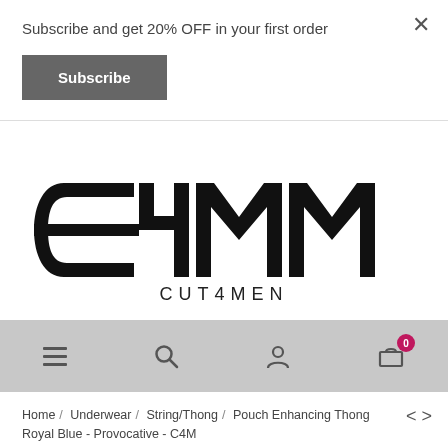Subscribe and get 20% OFF in your first order
Subscribe
[Figure (logo): CUT4MEN brand logo with stylized C4M letterform in black on white background]
[Figure (other): Navigation bar with hamburger menu, search icon, user icon, and cart icon with badge showing 0]
Home / Underwear / String/Thong / Pouch Enhancing Thong Royal Blue - Provocative - C4M